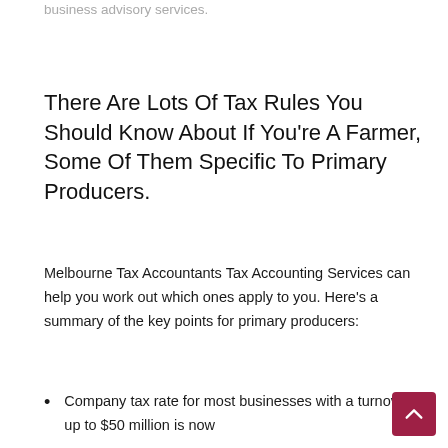business advisory services.
There Are Lots Of Tax Rules You Should Know About If You're A Farmer, Some Of Them Specific To Primary Producers.
Melbourne Tax Accountants Tax Accounting Services can help you work out which ones apply to you. Here's a summary of the key points for primary producers:
Company tax rate for most businesses with a turnover up to $50 million is now